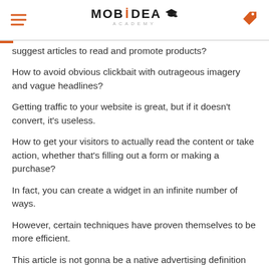MOBIDEA ACADEMY
suggest articles to read and promote products?
How to avoid obvious clickbait with outrageous imagery and vague headlines?
Getting traffic to your website is great, but if it doesn't convert, it's useless.
How to get your visitors to actually read the content or take action, whether that's filling out a form or making a purchase?
In fact, you can create a widget in an infinite number of ways.
However, certain techniques have proven themselves to be more efficient.
This article is not gonna be a native advertising definition